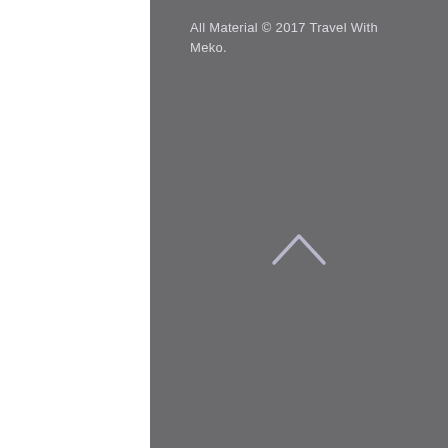All Material © 2017 Travel With Meko.
[Figure (other): A light lavender/grey upward-pointing chevron (caret) symbol centered on the grey background]